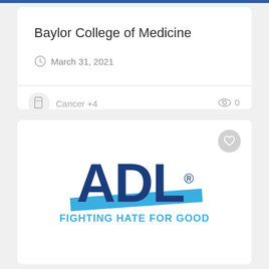Baylor College of Medicine
March 31, 2021
Cancer +4
0
[Figure (logo): ADL logo — large dark blue letters 'ADL' with a light blue diagonal stripe across them, registered trademark symbol, and tagline 'FIGHTING HATE FOR GOOD' in light blue below]